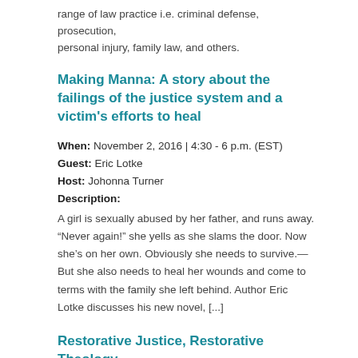range of law practice i.e. criminal defense, prosecution, personal injury, family law, and others.
Making Manna: A story about the failings of the justice system and a victim’s efforts to heal
When: November 2, 2016 | 4:30 - 6 p.m. (EST)
Guest: Eric Lotke
Host: Johonna Turner
Description:
A girl is sexually abused by her father, and runs away. “Never again!” she yells as she slams the door. Now she’s on her own. Obviously she needs to survive.— But she also needs to heal her wounds and come to terms with the family she left behind. Author Eric Lotke discusses his new novel, [...]
Restorative Justice, Restorative Theology, Restorative Church